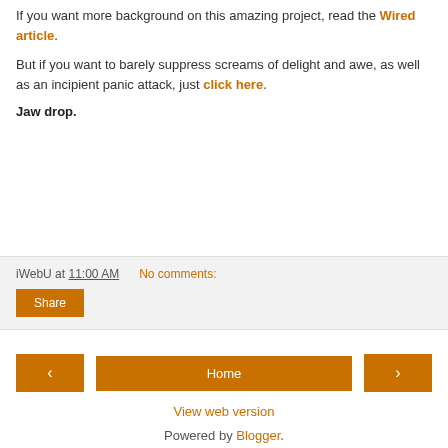If you want more background on this amazing project, read the Wired article.
But if you want to barely suppress screams of delight and awe, as well as an incipient panic attack, just click here.
Jaw drop.
iWebU at 11:00 AM   No comments:
Share
Home
View web version
Powered by Blogger.